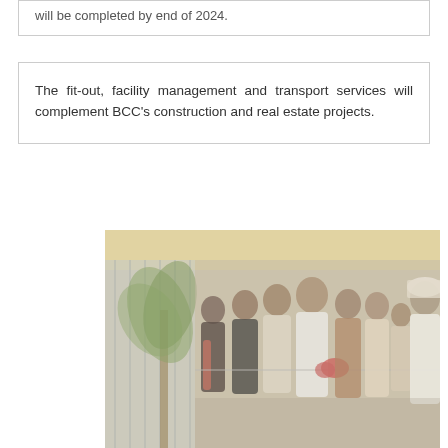will be completed by end of 2024.
The fit-out, facility management and transport services will complement BCC's construction and real estate projects.
[Figure (photo): Group of people standing in a row cutting a ribbon at what appears to be an opening ceremony. Several men and women are visible, with one person wearing traditional Gulf Arab attire on the right side. The setting appears to be inside a building with glass partitions and a palm plant visible.]